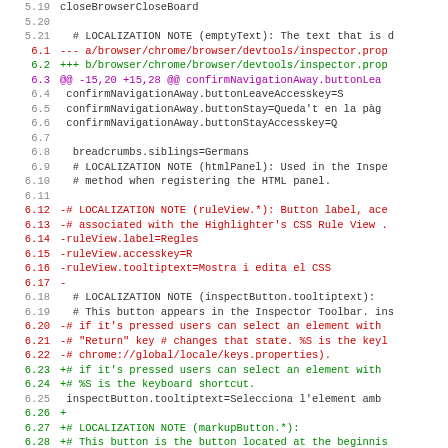Code diff view showing localization file changes for Firefox DevTools inspector properties, lines 5.19-6.30